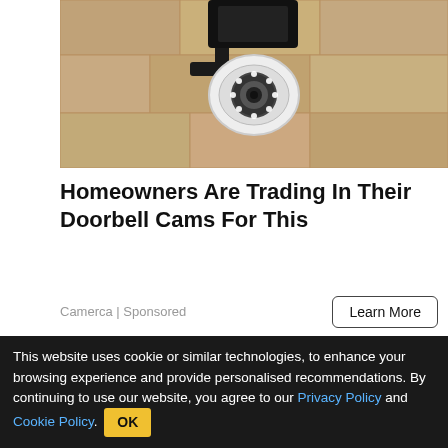[Figure (photo): Security camera mounted on a stone/concrete wall, white dome camera with black mounting bracket and LED ring]
Homeowners Are Trading In Their Doorbell Cams For This
Camerca | Sponsored
Learn More
[Figure (photo): Close-up photo of two human ankles/feet with thin cord or wire wrapped around each ankle, on a tiled surface]
Back To School Essentials
This website uses cookie or similar technologies, to enhance your browsing experience and provide personalised recommendations. By continuing to use our website, you agree to our Privacy Policy and Cookie Policy. OK